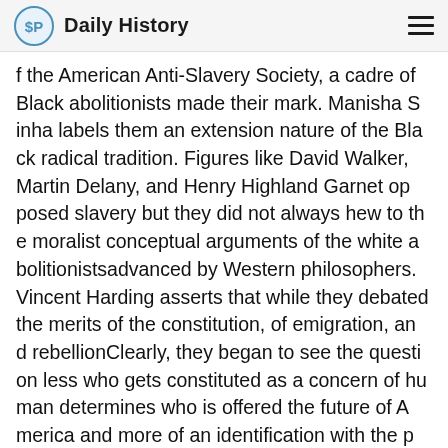Daily History
f the American Anti-Slavery Society, a cadre of Black abolitionists made their mark. Manisha Sinha labels them an extension nature of the Black radical tradition. Figures like David Walker, Martin Delany, and Henry Highland Garnet opposed slavery but they did not always hew to the moralist conceptual arguments of the white abolitionistsadvanced by Western philosophers. Vincent Harding asserts that while they debated the merits of the constitution, of emigration, and rebellionClearly, they began to see the question less who gets constituted as a concern of human determines who is offered the future of America and more of an identification with the prospects of Black freedom—regardless of what happens in and to America. They built an alternative convention movement protections offered by a social contract that raised these concerns and supported various initiatives confers rights u